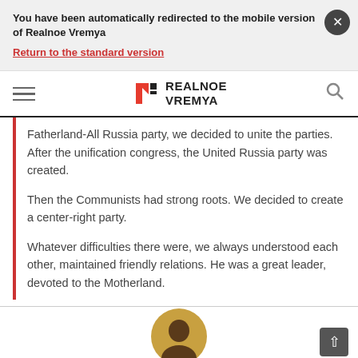You have been automatically redirected to the mobile version of Realnoe Vremya
Return to the standard version
[Figure (logo): Realnoe Vremya logo with hamburger menu and search icon navigation bar]
Fatherland-All Russia party, we decided to unite the parties. After the unification congress, the United Russia party was created.
Then the Communists had strong roots. We decided to create a center-right party.
Whatever difficulties there were, we always understood each other, maintained friendly relations. He was a great leader, devoted to the Motherland.
[Figure (photo): Circular avatar/portrait photo of a person at the bottom of the page]